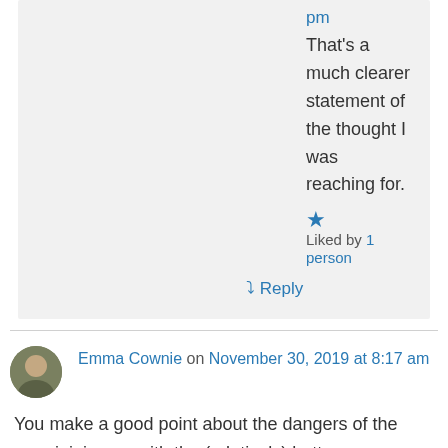pm
That's a much clearer statement of the thought I was reaching for.
★ Liked by 1 person
↳ Reply
Emma Cownie on November 30, 2019 at 8:17 am
You make a good point about the dangers of the poor joining up with the (relatively) better